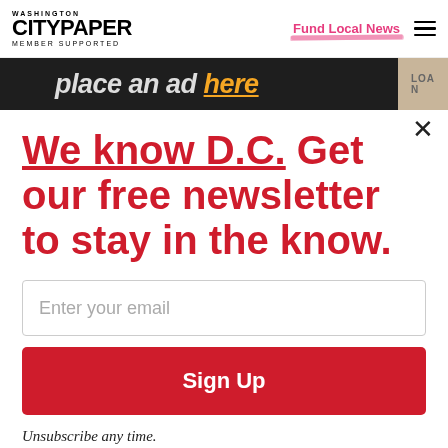WASHINGTON CITYPAPER MEMBER SUPPORTED | Fund Local News
[Figure (screenshot): Ad banner with text 'place an ad here' in white and orange on dark background, with beige LOAN strip on right]
× (close button)
We know D.C. Get our free newsletter to stay in the know.
Enter your email
Sign Up
Unsubscribe any time.